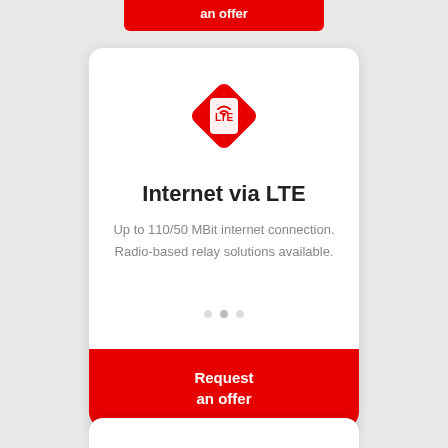an offer
[Figure (illustration): Red diamond-shaped LTE SIM card icon with wireless signal waves]
Internet via LTE
Up to 110/50 MBit internet connection. Radio-based relay solutions available.
Request
an offer